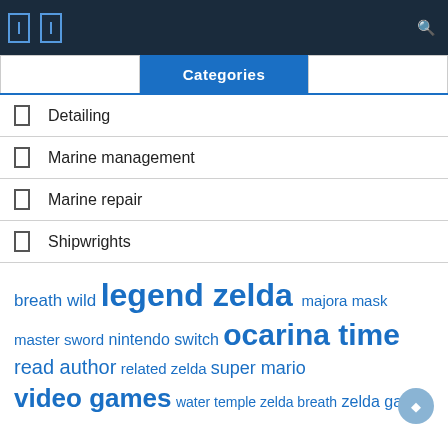Categories
Detailing
Marine management
Marine repair
Shipwrights
breath wild  legend zelda  majora mask  master sword  nintendo switch  ocarina time  read author  related zelda  super mario  video games  water temple  zelda breath  zelda games